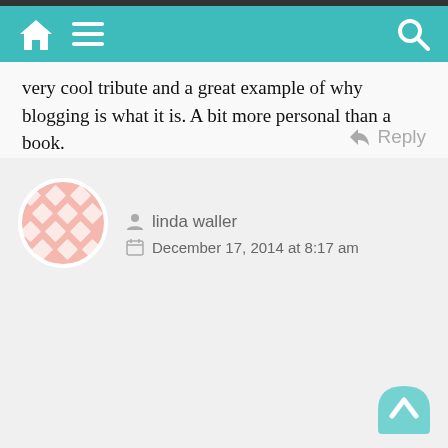[Figure (screenshot): Mobile browser navigation bar with teal/cyan background, home icon, hamburger menu icon on left, and search icon on right, with dark strip at top]
very cool tribute and a great example of why blogging is what it is. A bit more personal than a book.
I guess for some, there are probably reasons that their blogs were created that are not so obvious. Some of the stories I wrote about perseverance and hope were really meant more for me than for others.
Loading...
Reply
[Figure (illustration): Pink/salmon colored decorative avatar with diamond/lattice pattern]
linda waller
December 17, 2014 at 8:17 am